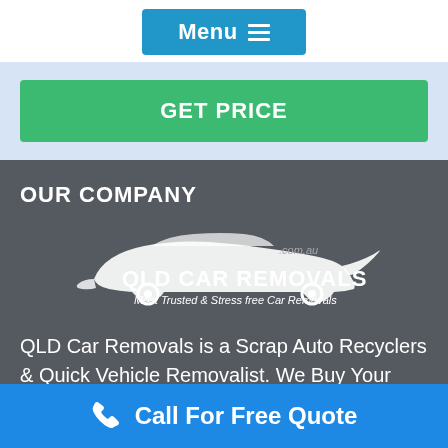[Figure (screenshot): Blue Menu button with hamburger icon]
[Figure (screenshot): Green GET PRICE button on light blue background]
OUR COMPANY
[Figure (logo): QLD Car Removals logo — white car silhouette with text 'QLD CAR REMOVALS Most Trusted & Stress free Car Removals' and '.com.au']
QLD Car Removals is a Scrap Auto Recyclers & Quick Vehicle Removalist. We Buy Your Old,
[Figure (screenshot): Blue call bar with phone icon and text 'Call For Free Quote']